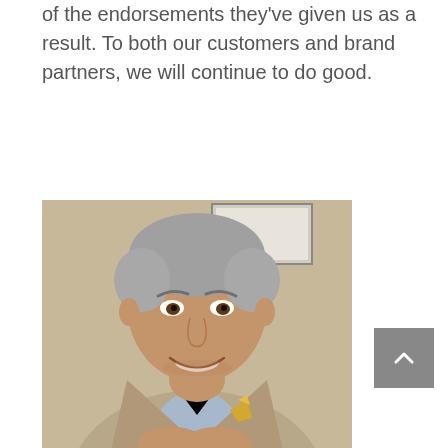of the endorsements they've given us as a result. To both our customers and brand partners, we will continue to do good.
[Figure (photo): Portrait photo of a smiling middle-aged man with grey hair, wearing a tan/beige blazer, light blue shirt, and a gold pocket square, seated with hands clasped, against a neutral background.]